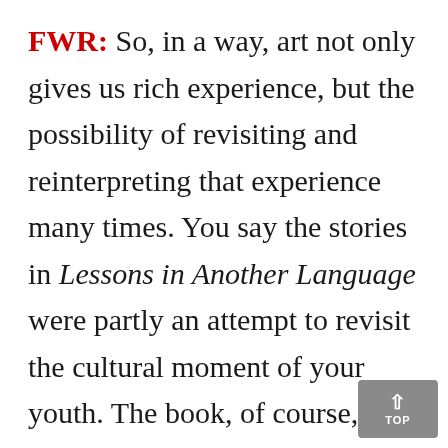FWR: So, in a way, art not only gives us rich experience, but the possibility of revisiting and reinterpreting that experience many times. You say the stories in Lessons in Another Language were partly an attempt to revisit the cultural moment of your youth. The book, of course, presents specifics – material, I suppose – perhaps not all of which was originally present in your memory.